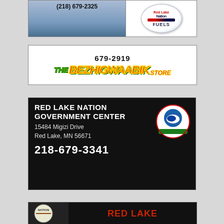[Figure (photo): Advertisement for a store with phone number (218) 679-2325 and Red Lake Nation Fuels logo on the right]
[Figure (photo): Advertisement for The Bezhigwaabik Store with phone number 679-2919]
[Figure (photo): Advertisement for Red Lake Nation Government Center, 15484 Migizi Drive, Red Lake, MN 56671, phone 218-679-3341]
[Figure (photo): Partial advertisement showing Red Lake Nation logo and Red Lake text]